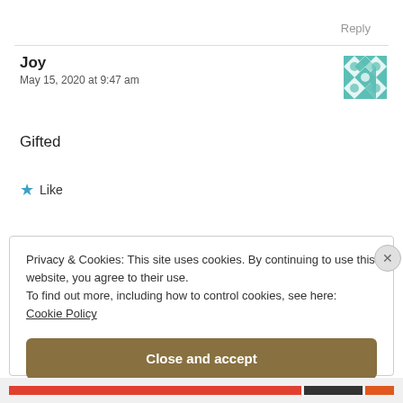Reply
Joy
May 15, 2020 at 9:47 am
[Figure (illustration): Teal geometric quilt-pattern avatar icon]
Gifted
★ Like
Privacy & Cookies: This site uses cookies. By continuing to use this website, you agree to their use.
To find out more, including how to control cookies, see here:
Cookie Policy

Close and accept